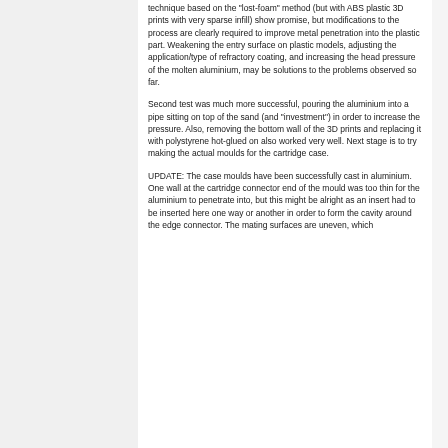technique based on the "lost-foam" method (but with ABS plastic 3D prints with very sparse infill) show promise, but modifications to the process are clearly required to improve metal penetration into the plastic part. Weakening the entry surface on plastic models, adjusting the application/type of refractory coating, and increasing the head pressure of the molten aluminium, may be solutions to the problems observed so far.
Second test was much more successful, pouring the aluminium into a pipe sitting on top of the sand (and "investment") in order to increase the pressure. Also, removing the bottom wall of the 3D prints and replacing it with polystyrene hot-glued on also worked very well. Next stage is to try making the actual moulds for the cartridge case.
UPDATE: The case moulds have been successfully cast in aluminium. One wall at the cartridge connector end of the mould was too thin for the aluminium to penetrate into, but this might be alright as an insert had to be inserted here one way or another in order to form the cavity around the edge connector. The mating surfaces are uneven, which